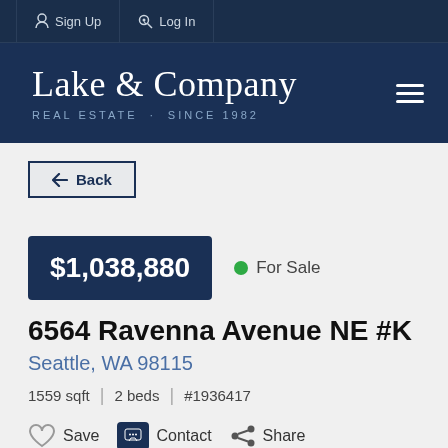Sign Up  Log In
[Figure (logo): Lake & Company Real Estate Since 1982 logo with hamburger menu]
← Back
$1,038,880  ● For Sale
6564 Ravenna Avenue NE #K
Seattle, WA 98115
1559 sqft  |  2 beds  |  #1936417
♡ Save  ✉ Contact  ⬡ Share
$ Price Change Alerts